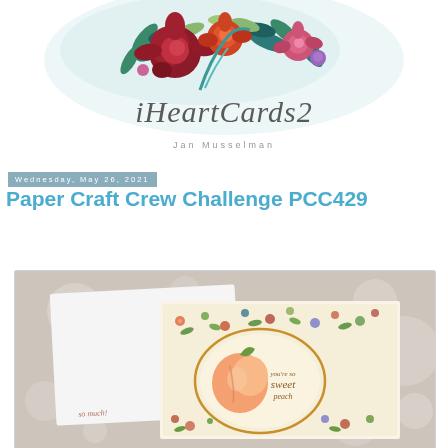[Figure (illustration): iHeartCards2 blog header banner with watercolor flowers (red roses, pink flowers, green leaves, teal leaves) above the script blog title and author name]
iHeartCards2
Jan Musselman
Wednesday, May 26, 2021
Paper Craft Crew Challenge PCC429
[Figure (photo): Photo of handmade greeting cards featuring floral and peach designs on a light bokeh background. Cards show stamped flowers and a sweet peach sentiment.]